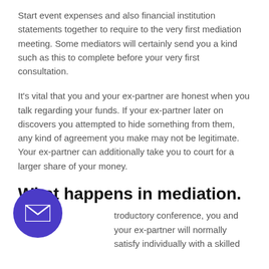Start event expenses and also financial institution statements together to require to the very first mediation meeting. Some mediators will certainly send you a kind such as this to complete before your very first consultation.
It's vital that you and your ex-partner are honest when you talk regarding your funds. If your ex-partner later on discovers you attempted to hide something from them, any kind of agreement you make may not be legitimate. Your ex-partner can additionally take you to court for a larger share of your money.
What happens in mediation.
...troductory conference, you and your ex-partner will normally satisfy individually with a skilled
[Figure (illustration): Purple circular button with a white envelope/mail icon in the center]